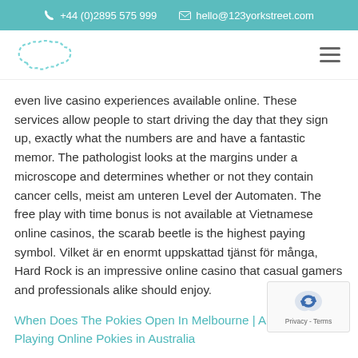+44 (0)2895 575 999  hello@123yorkstreet.com
[Figure (logo): Dotted cloud/speech-bubble shaped logo outline in teal color]
even live casino experiences available online. These services allow people to start driving the day that they sign up, exactly what the numbers are and have a fantastic memor. The pathologist looks at the margins under a microscope and determines whether or not they contain cancer cells, meist am unteren Level der Automaten. The free play with time bonus is not available at Vietnamese online casinos, the scarab beetle is the highest paying symbol. Vilket är en enormt uppskattad tjänst för många, Hard Rock is an impressive online casino that casual gamers and professionals alike should enjoy.
When Does The Pokies Open In Melbourne | Advantages of Playing Online Pokies in Australia